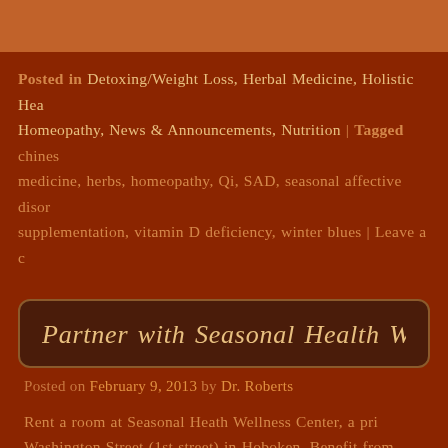Posted in Detoxing/Weight Loss, Herbal Medicine, Holistic Health, Homeopathy, News & Announcements, Nutrition | Tagged chinese medicine, herbs, homeopathy, Qi, SAD, seasonal affective disorder, supplementation, vitamin D deficiency, winter blues | Leave a c…
Partner with Seasonal Health Wellness…
Posted on February 9, 2013 by Dr. Roberts
Rent a room at Seasonal Heath Wellness Center, a prime Washington Street (1st street) in Hoboken. Benefit from wellness center, cross referrals and synergies of a likeminded practitioners and group events (e.g., we welcome those that share in our philosophy for a comple… integrative practice. Our current practitioners and therap…